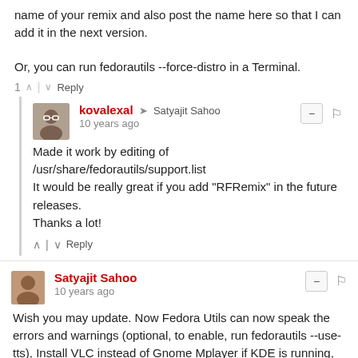name of your remix and also post the name here so that I can add it in the next version.

Or, you can run fedorautils --force-distro in a Terminal.
1 ^ | v Reply
kovalexal → Satyajit Sahoo
10 years ago
Made it work by editing of /usr/share/fedorautils/support.list
It would be really great if you add "RFRemix" in the future releases.
Thanks a lot!
^ | v Reply
Satyajit Sahoo
10 years ago
Wish you may update. Now Fedora Utils can now speak the errors and warnings (optional, to enable, run fedorautils --use-tts), Install VLC instead of Gnome Mplayer if KDE is running, Improved "Fix font rendering" plugin (to get Ubuntu like rendering), better Gnome Shell integration and more :)